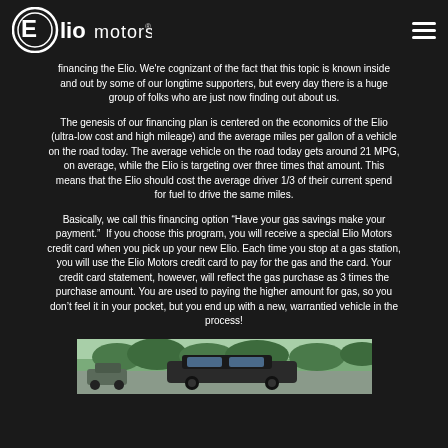Elio Motors
financing the Elio. We're cognizant of the fact that this topic is known inside and out by some of our longtime supporters, but every day there is a huge group of folks who are just now finding out about us.
The genesis of our financing plan is centered on the economics of the Elio (ultra-low cost and high mileage) and the average miles per gallon of a vehicle on the road today. The average vehicle on the road today gets around 21 MPG, on average, while the Elio is targeting over three times that amount. This means that the Elio should cost the average driver 1/3 of their current spend for fuel to drive the same miles.
Basically, we call this financing option “Have your gas savings make your payment.”  If you choose this program, you will receive a special Elio Motors credit card when you pick up your new Elio. Each time you stop at a gas station, you will use the Elio Motors credit card to pay for the gas and the card. Your credit card statement, however, will reflect the gas purchase as 3 times the purchase amount. You are used to paying the higher amount for gas, so you don’t feel it in your pocket, but you end up with a new, warrantied vehicle in the process!
[Figure (photo): Photo of Elio Motors vehicle outdoors in a green landscape setting]